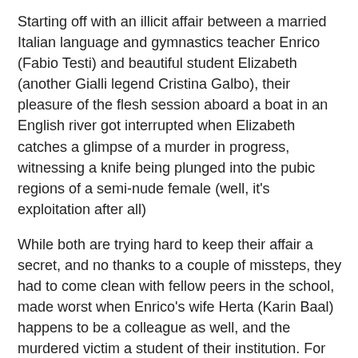Starting off with an illicit affair between a married Italian language and gymnastics teacher Enrico (Fabio Testi) and beautiful student Elizabeth (another Gialli legend Cristina Galbo), their pleasure of the flesh session aboard a boat in an English river got interrupted when Elizabeth catches a glimpse of a murder in progress, witnessing a knife being plunged into the pubic regions of a semi-nude female (well, it's exploitation after all)
While both are trying hard to keep their affair a secret, and no thanks to a couple of missteps, they had to come clean with fellow peers in the school, made worst when Enrico's wife Herta (Karin Baal) happens to be a colleague as well, and the murdered victim a student of their institution. For Inspector Barth (Joachim Fuchsberger), it's the usual tying up of loose ends in a series of murders which turn up, all involving young girls and falling prey to the same modus operandi. This is where the audience will probably get the most fun out of, trying to apply contemporary sensibilities to try and solve the mystery ahead of time, but failing to do so because of Massimo Dallamano's tight direction and constant keeping of an ace up his sleeve.